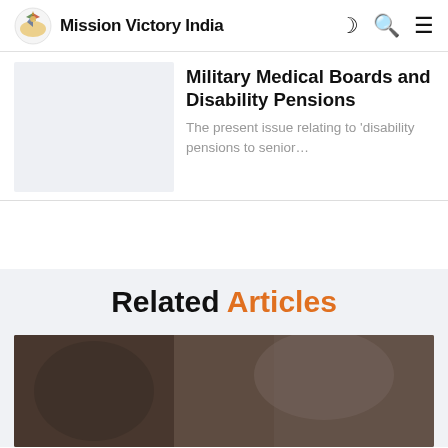Mission Victory India
Military Medical Boards and Disability Pensions
The present issue relating to 'disability pensions to senior...
Related Articles
[Figure (photo): Blurred dark photograph used as article thumbnail in Related Articles section]